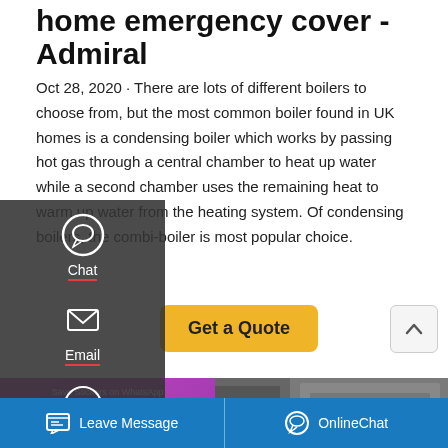home emergency cover - Admiral
Oct 28, 2020 · There are lots of different boilers to choose from, but the most common boiler found in UK homes is a condensing boiler which works by passing hot gas through a central chamber to heat up water while a second chamber uses the remaining heat to warm up water from the heating system. Of condensing boilers, the combi-boiler is most popular choice.
[Figure (screenshot): Left sidebar overlay with Chat, Email, Contact icons on dark background]
[Figure (photo): Industrial boiler equipment photo in background]
[Figure (screenshot): Save Stickers on WhatsApp purple overlay with phone and emoji icons]
[Figure (screenshot): Bottom blue bar with Leave Message and OnlineChat buttons]